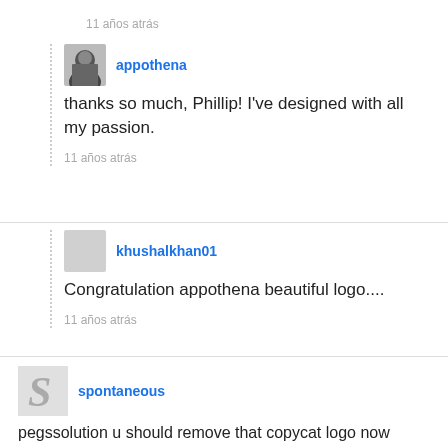11 años atrás
appothena
thanks so much, Phillip! I've designed with all my passion.
11 años atrás
khushalkhan01
Congratulation appothena beautiful logo....
11 años atrás
spontaneous
pegssolution u should remove that copycat logo now maybe if you have still little respect left...
11 años atrás